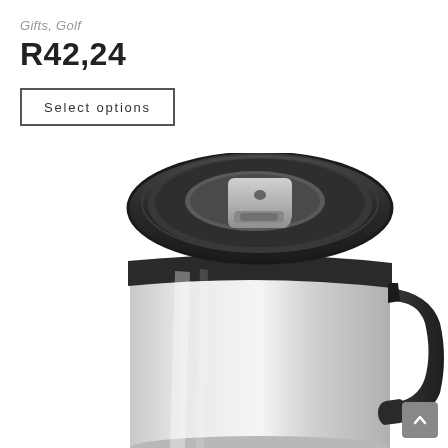Gifts, Golf
R42,24
Select options
[Figure (photo): Stainless steel travel mug with black plastic lid featuring a sliding drink tab and a black handle, viewed from slightly above to show the lid detail. The mug has a brushed silver/stainless steel body.]